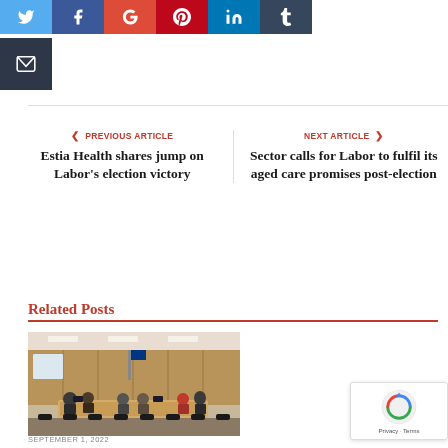[Figure (other): Social media share buttons row: Twitter (blue), Facebook (dark blue), Google+ (red), Pinterest (dark red), LinkedIn (blue), Tumblr (dark grey), and Email (dark grey) below]
PREVIOUS ARTICLE
Estia Health shares jump on Labor's election victory
NEXT ARTICLE
Sector calls for Labor to fulfil its aged care promises post-election
Related Posts
[Figure (photo): Meeting room photo showing people seated around a long conference table in a formal hearing or committee setting, with wooden panelling in background]
SEPTEMBER 1, 2022